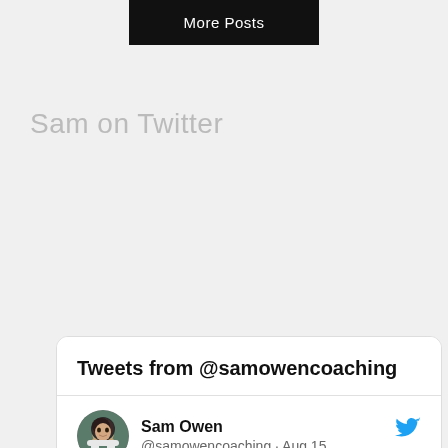More Posts
Sam on Twitter
[Figure (screenshot): Twitter widget showing tweets from @samowencoaching, with a tweet from Sam Owen dated Aug 15 about 'Anxiety Free' being number 19 in Amazon Bestsellers for Mood Disorders.]
Tweets from @samowencoaching
Sam Owen @samowencoaching · Aug 15
'Anxiety Free' at number 19 in Amazon Bestsellers right now for Mood Disorders!

That's bloomin' nice!

It is a fantastic book!

Grab a copy for yourself or a loved one: